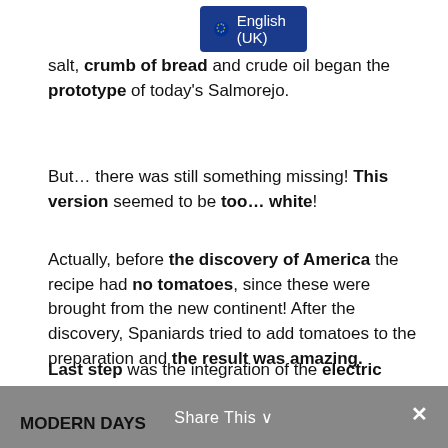[Figure (screenshot): Blue badge/dropdown showing EU flag stars circle icon and text 'English (UK)']
salt, crumb of bread and crude oil began the prototype of today's Salmorejo.
But… there was still something missing! This version seemed to be too… white!
Actually, before the discovery of America the recipe had no tomatoes, since these were brought from the new continent! After the discovery, Spaniards tried to add tomatoes to the preparation and the result was amazing.
Last step was the integration of the electric mixer in the 70's. Thanks to it, Salmorejo evolved completely and took the creamy form that we know today.
MODERN DAYS
Share This ∨  ×